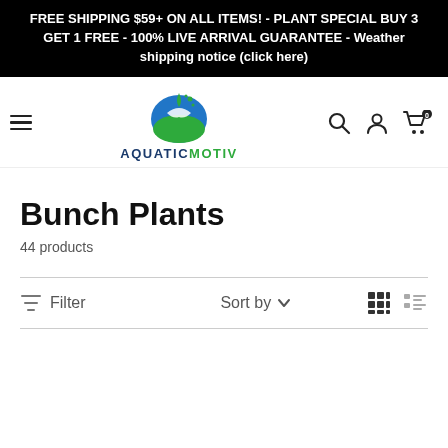FREE SHIPPING $59+ ON ALL ITEMS! - PLANT SPECIAL BUY 3 GET 1 FREE - 100% LIVE ARRIVAL GUARANTEE - Weather shipping notice (click here)
[Figure (logo): AquaticMotiv logo: blue/green swirling fish and water droplet graphic above the brand name AQUATICMOTIV in navy and green text]
Bunch Plants
44 products
Filter  Sort by  (grid/list view toggle)